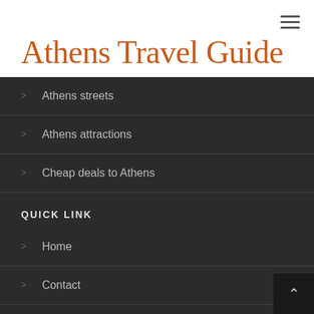Athens Travel Guide
Athens streets
Athens attractions
Cheap deals to Athens
QUICK LINK
Home
Contact
Sitemap